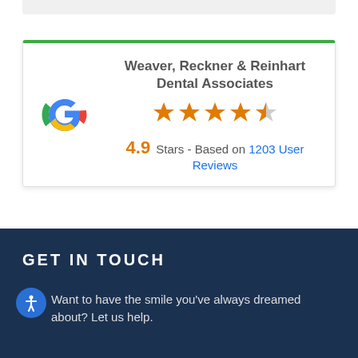[Figure (other): Google review card with Google logo, business name 'Weaver, Reckner & Reinhart Dental Associates', 4.5 star rating, 4.9 Stars - Based on 1203 User Reviews]
GET IN TOUCH
Want to have the smile you've always dreamed about? Let us help.